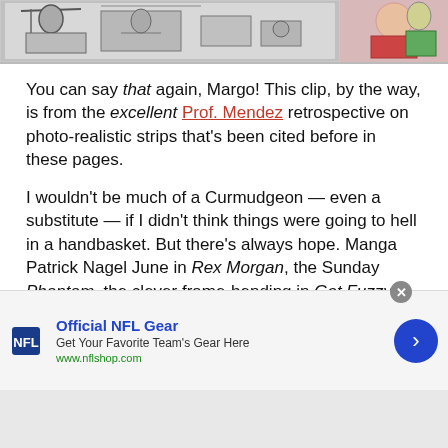[Figure (illustration): Two comic strip panels — left panel is black-and-white showing figures at a table, right panel is color showing characters including a woman in pink/red.]
You can say that again, Margo! This clip, by the way, is from the excellent Prof. Mendez retrospective on photo-realistic strips that's been cited before in these pages.
I wouldn't be much of a Curmudgeon — even a substitute — if I didn't think things were going to hell in a handbasket. But there's always hope. Manga Patrick Nagel June in Rex Morgan, the Sunday Phantom, the clever frame-bending in Get Fuzzy and 9 Chickweed Lane, the pixellated iconography of Diesel Sweeties – artists are finding new ways of working within their constraints.
[Figure (other): Advertisement banner: Official NFL Gear — Get Your Favorite Team's Gear Here — www.nflshop.com]